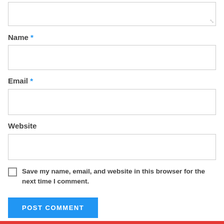[Figure (screenshot): A textarea input field (comment box) partially visible at top of page, with resize handle at bottom-right corner.]
Name *
[Figure (screenshot): A text input field for Name.]
Email *
[Figure (screenshot): A text input field for Email.]
Website
[Figure (screenshot): A text input field for Website.]
Save my name, email, and website in this browser for the next time I comment.
POST COMMENT